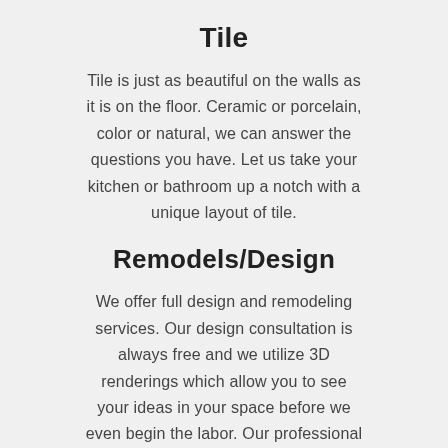Tile
Tile is just as beautiful on the walls as it is on the floor. Ceramic or porcelain, color or natural, we can answer the questions you have. Let us take your kitchen or bathroom up a notch with a unique layout of tile.
Remodels/Design
We offer full design and remodeling services. Our design consultation is always free and we utilize 3D renderings which allow you to see your ideas in your space before we even begin the labor. Our professional